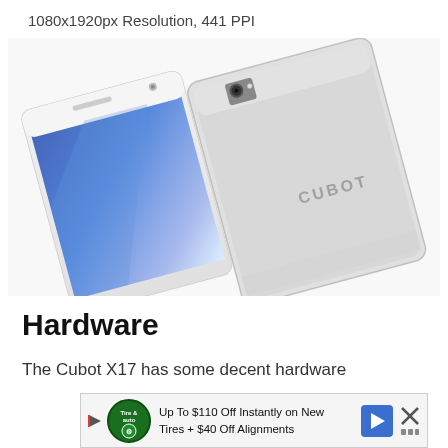1080x1920px Resolution, 441 PPI
[Figure (photo): Two Cubot X17 smartphones shown front and back, white/silver color. The front phone shows a blue screen display. The back phone shows the CUBOT branding and camera module. Both phones are photographed at an angle on a white background.]
Hardware
The Cubot X17 has some decent hardware
[Figure (other): Advertisement banner: Up To $110 Off Instantly on New Tires + $40 Off Alignments with Tire & Auto logo, blue arrow button, and close button]